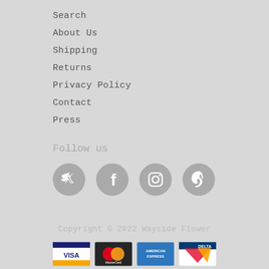Search
About Us
Shipping
Returns
Privacy Policy
Contact
Press
Follow us
[Figure (infographic): Social media icons: Twitter, Facebook, Instagram, Pinterest in gray circles]
Copyright © 2022 Wayside Flower
[Figure (infographic): Payment method logos: Visa, MasterCard, American Express, Delta, Discover, PayPal]